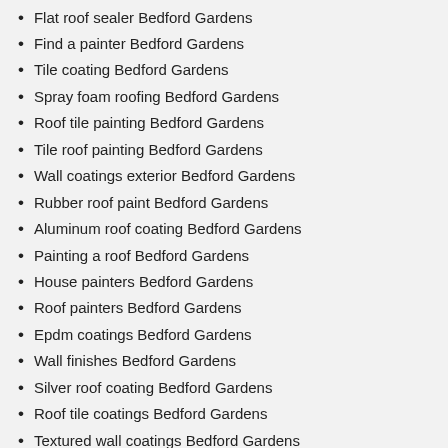Flat roof sealer Bedford Gardens
Find a painter Bedford Gardens
Tile coating Bedford Gardens
Spray foam roofing Bedford Gardens
Roof tile painting Bedford Gardens
Tile roof painting Bedford Gardens
Wall coatings exterior Bedford Gardens
Rubber roof paint Bedford Gardens
Aluminum roof coating Bedford Gardens
Painting a roof Bedford Gardens
House painters Bedford Gardens
Roof painters Bedford Gardens
Epdm coatings Bedford Gardens
Wall finishes Bedford Gardens
Silver roof coating Bedford Gardens
Roof tile coatings Bedford Gardens
Textured wall coatings Bedford Gardens
Thermal roof coating Bedford Gardens
Industrial coatings Bedford Gardens
Coatings Bedford Gardens
Elastic roof coating Bedford Gardens
External wall coatings Bedford Gardens
Roof painting Bedford Gardens
Clear roof coating Bedford Gardens
Wall coatings Bedford Gardens
Flat roof coating Bedford Gardens
Acrylic elastomeric roof coating Bedford Gardens